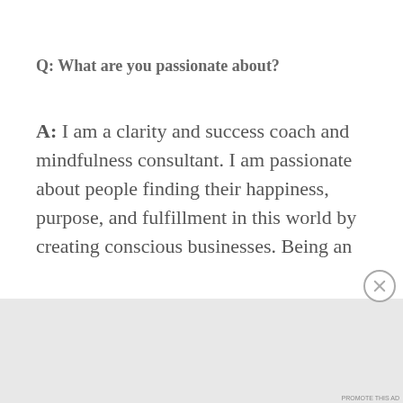Q: What are you passionate about?
A: I am a clarity and success coach and mindfulness consultant. I am passionate about people finding their happiness, purpose, and fulfillment in this world by creating conscious businesses. Being an
Advertisements
[Figure (infographic): DuckDuckGo advertisement banner on orange background: 'Search, browse, and email with more privacy. All in One Free App' with phone graphic and DuckDuckGo logo]